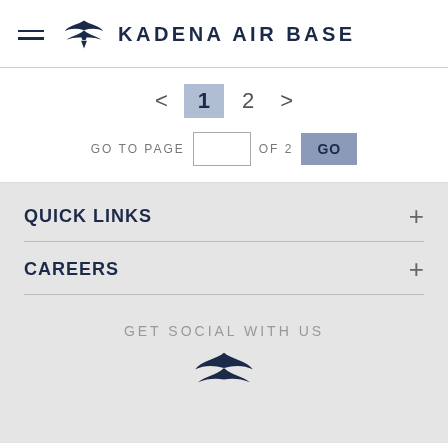Kadena Air Base
< 1 2 > | GO TO PAGE [input] OF 2 GO
QUICK LINKS +
CAREERS +
GET SOCIAL WITH US